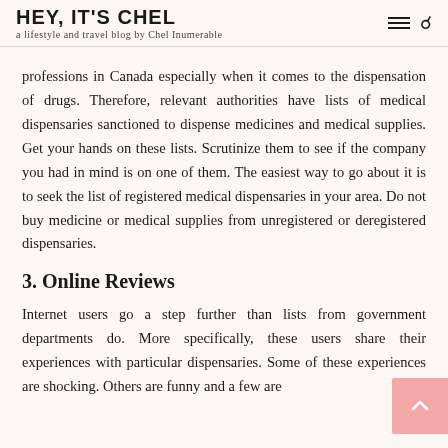HEY, IT'S CHEL
a lifestyle and travel blog by Chel Inumerable
professions in Canada especially when it comes to the dispensation of drugs. Therefore, relevant authorities have lists of medical dispensaries sanctioned to dispense medicines and medical supplies. Get your hands on these lists. Scrutinize them to see if the company you had in mind is on one of them. The easiest way to go about it is to seek the list of registered medical dispensaries in your area. Do not buy medicine or medical supplies from unregistered or deregistered dispensaries.
3. Online Reviews
Internet users go a step further than lists from government departments do. More specifically, these users share their experiences with particular dispensaries. Some of these experiences are shocking. Others are funny and a few are